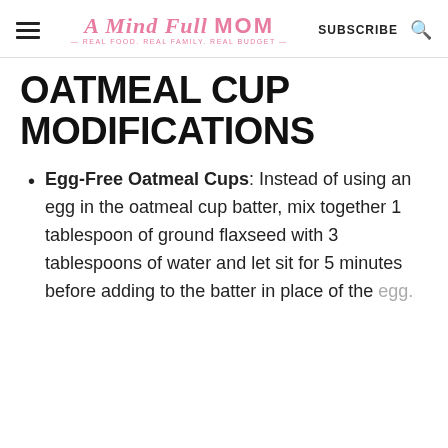A Mind Full Mom — REAL FOOD. REAL FAMILY. REAL BUDGET. — SUBSCRIBE
OATMEAL CUP MODIFICATIONS
Egg-Free Oatmeal Cups: Instead of using an egg in the oatmeal cup batter, mix together 1 tablespoon of ground flaxseed with 3 tablespoons of water and let sit for 5 minutes before adding to the batter in place of the egg.